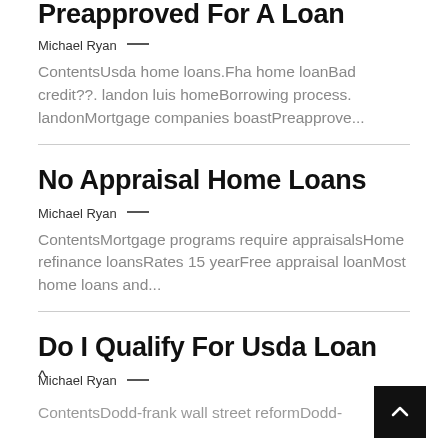Preapproved For A Loan
Michael Ryan —
ContentsUsda home loans.Fha home loanBad credit??. landon luis homeBorrowing process. landonMortgage companies boastPreapprove...
No Appraisal Home Loans
Michael Ryan —
ContentsMortgage programs require appraisalsHome refinance loansRates 15 yearFree appraisal loanMost home loans and...
Do I Qualify For Usda Loan
Michael Ryan —
ContentsDodd-frank wall street reformDodd-